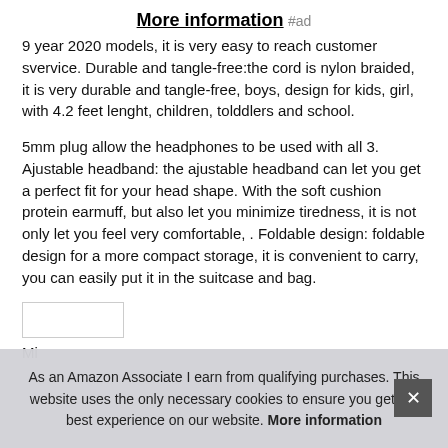More information #ad
9 year 2020 models, it is very easy to reach customer svervice. Durable and tangle-free:the cord is nylon braided, it is very durable and tangle-free, boys, design for kids, girl, with 4.2 feet lenght, children, tolddlers and school.
5mm plug allow the headphones to be used with all 3. Ajustable headband: the ajustable headband can let you get a perfect fit for your head shape. With the soft cushion protein earmuff, but also let you minimize tiredness, it is not only let you feel very comfortable, . Foldable design: foldable design for a more compact storage, it is convenient to carry, you can easily put it in the suitcase and bag.
As an Amazon Associate I earn from qualifying purchases. This website uses the only necessary cookies to ensure you get the best experience on our website. More information